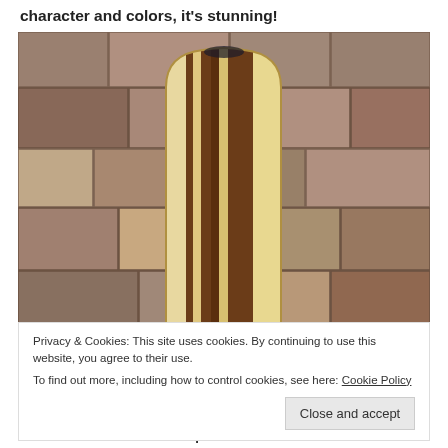character and colors, it's stunning!
[Figure (photo): A wooden cutting board or paddle made from alternating strips of light maple and dark black walnut wood, with a rounded top, leaning against a stone wall background.]
Privacy & Cookies: This site uses cookies. By continuing to use this website, you agree to their use.
To find out more, including how to control cookies, see here: Cookie Policy
Close and accept
Above: Black Walnut and Maple